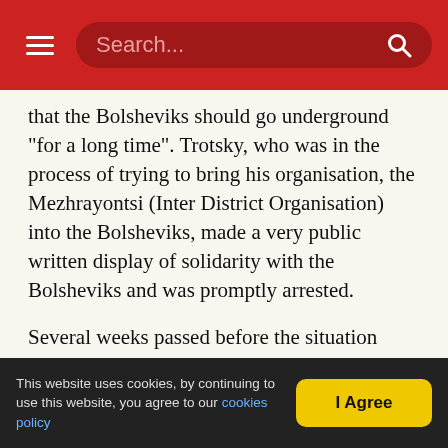Search...
that the Bolsheviks should go underground "for a long time". Trotsky, who was in the process of trying to bring his organisation, the Mezhrayontsi (Inter District Organisation) into the Bolsheviks, made a very public written display of solidarity with the Bolsheviks and was promptly arrested.
Several weeks passed before the situation changed. Lenin felt that the opportunity for a peaceful transformation of society had passed and that the Bolsheviks needed to prepare for the likelihood of civil war. He considered for a while that the Soviets
This website uses cookies, by continuing to use this website, you agree to our cookies policy    I Agree